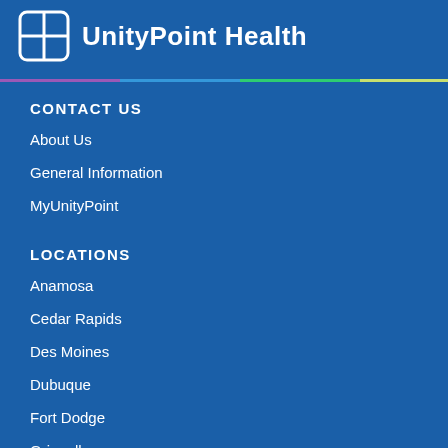[Figure (logo): UnityPoint Health logo with grid icon and text]
CONTACT US
About Us
General Information
MyUnityPoint
LOCATIONS
Anamosa
Cedar Rapids
Des Moines
Dubuque
Fort Dodge
Grinnell
Madison